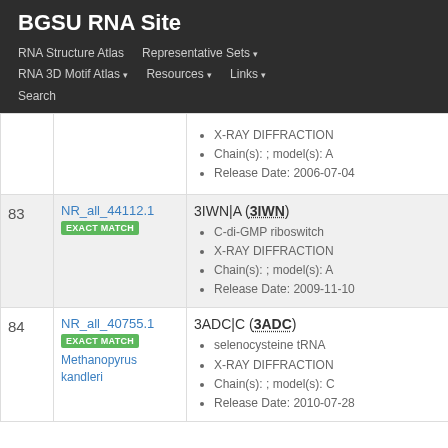BGSU RNA Site
RNA Structure Atlas | Representative Sets ▾ | RNA 3D Motif Atlas ▾ | Resources ▾ | Links ▾ | Search
| # | ID | Info |
| --- | --- | --- |
|  |  | X-RAY DIFFRACTION • Chain(s): ; model(s): A • Release Date: 2006-07-04 |
| 83 | NR_all_44112.1 EXACT MATCH | 3IWN|A (3IWN) • C-di-GMP riboswitch • X-RAY DIFFRACTION • Chain(s): ; model(s): A • Release Date: 2009-11-10 |
| 84 | NR_all_40755.1 EXACT MATCH Methanopyrus kandleri | 3ADC|C (3ADC) • selenocysteine tRNA • X-RAY DIFFRACTION • Chain(s): ; model(s): C • Release Date: 2010-07-28 |